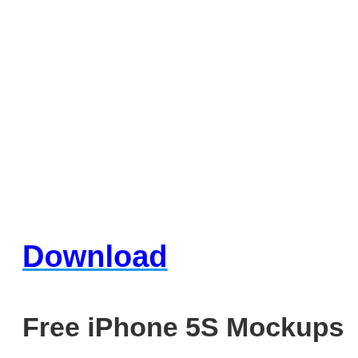Download
Free iPhone 5S Mockups